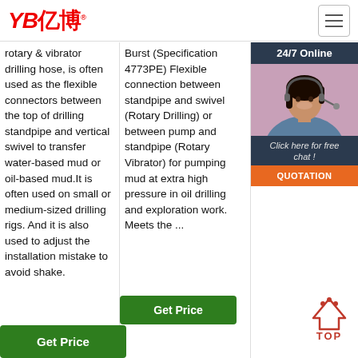YB亿博
rotary & vibrator drilling hose, is often used as the flexible connectors between the top of drilling standpipe and vertical swivel to transfer water-based mud or oil-based mud.It is often used on small or medium-sized drilling rigs. And it is also used to adjust the installation mistake to avoid shake.
Burst (Specification 4773PE) Flexible connection between standpipe and swivel (Rotary Drilling) or between pump and standpipe (Rotary Vibrator) for pumping mud at extra high pressure in oil drilling and exploration work. Meets the ...
price from certified Chi... Hyd... Rub... Pre... sup... who... fac... Chi...
[Figure (infographic): 24/7 Online chat popup with woman wearing headset, and QUOTATION button]
Get Price (column 2 button)
Get Price (column 1 button)
[Figure (illustration): TOP icon with triangular arrow shape and dots]